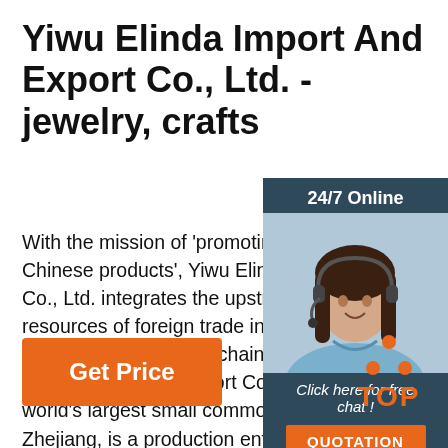Yiwu Elinda Import And Export Co., Ltd. - jewelry, crafts
With the mission of 'promoting the global Chinese products', Yiwu Elinda Import and Export Co., Ltd. integrates the upstream and downstream resources of foreign trade industry, making every effort to build a supply chain service platform. Elinda Import and Export Co., Ltd. Located in the world's largest small commodity city -- Yiwu, Zhejiang, is a production enterprise integrating ...
[Figure (illustration): Customer service agent photo with 24/7 Online label, Click here for free chat text, and QUOTATION button on dark teal sidebar]
[Figure (logo): TOP icon with orange dots arranged in triangle above bold orange TOP text]
Get Price